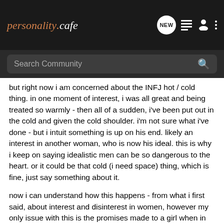personalitycafe — NEW [icons]
Search Community
but right now i am concerned about the INFJ hot / cold thing. in one moment of interest, i was all great and being treated so warmly - then all of a sudden, i've been put out in the cold and given the cold shoulder. i'm not sure what i've done - but i intuit something is up on his end. likely an interest in another woman, who is now his ideal. this is why i keep on saying idealistic men can be so dangerous to the heart. or it could be that cold (i need space) thing, which is fine, just say something about it.
now i can understand how this happens - from what i first said, about interest and disinterest in women, however my only issue with this is the promises made to a girl when in 'hot' mode. under no circumstances do i make promises to a prospective partner that i don't plan on following up on. that is not cool. but this i know is not an INFJ thing particularly, this is an 'emotional' man thing. i think many ladies have issues with this kind of